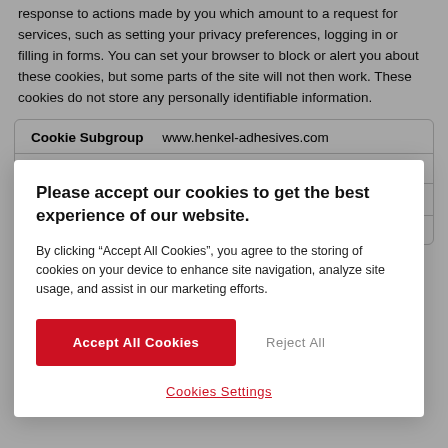response to actions made by you which amount to a request for services, such as setting your privacy preferences, logging in or filling in forms. You can set your browser to block or alert you about these cookies, but some parts of the site will not then work. These cookies do not store any personally identifiable information.
| Cookie Subgroup | www.henkel-adhesives.com |
| --- | --- |
| Cookies | AWSALB CORS, AWSALB, fontsReady |
| Lifespan | 365 days, 365 days, 365 days |
|  |  |
Please accept our cookies to get the best experience of our website.
By clicking “Accept All Cookies”, you agree to the storing of cookies on your device to enhance site navigation, analyze site usage, and assist in our marketing efforts.
Accept All Cookies
Reject All
Cookies Settings